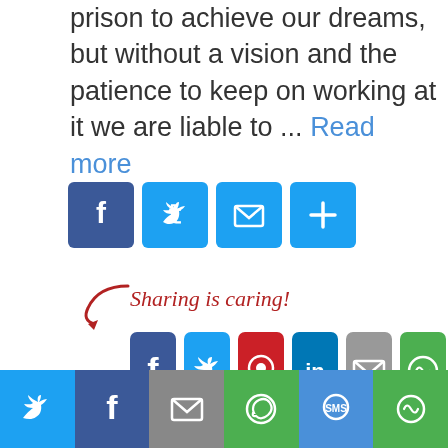prison to achieve our dreams, but without a vision and the patience to keep on working at it we are liable to ... Read more
[Figure (infographic): Social share buttons row: Facebook (blue), Twitter (blue), Email (blue), More (blue plus icon)]
[Figure (infographic): Sharing is caring! section with red cursive text and arrow, followed by social share buttons: Facebook (dark blue), Twitter (light blue), Pinterest (red), LinkedIn (blue), Email (grey), More (green)]
Online Marketing
hilarybassak, I Found My 100 Yeqr Old Mother, patience
11 Comments
[Figure (infographic): Bottom share bar with Twitter, Facebook, Email, WhatsApp, SMS, More buttons]